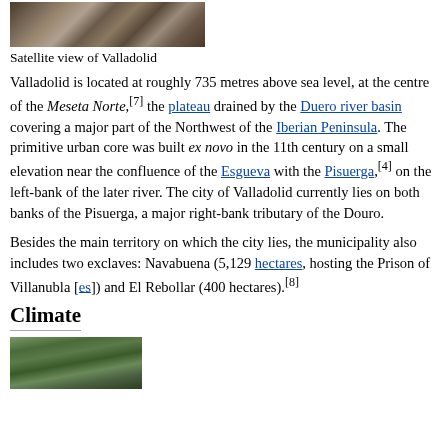[Figure (photo): Satellite aerial view of Valladolid]
Satellite view of Valladolid
Valladolid is located at roughly 735 metres above sea level, at the centre of the Meseta Norte,[7] the plateau drained by the Duero river basin covering a major part of the Northwest of the Iberian Peninsula. The primitive urban core was built ex novo in the 11th century on a small elevation near the confluence of the Esgueva with the Pisuerga,[4] on the left-bank of the later river. The city of Valladolid currently lies on both banks of the Pisuerga, a major right-bank tributary of the Douro.
Besides the main territory on which the city lies, the municipality also includes two exclaves: Navabuena (5,129 hectares, hosting the Prison of Villanubla [es]) and El Rebollar (400 hectares).[8]
Climate
[Figure (photo): Nature/forest scene near Valladolid]